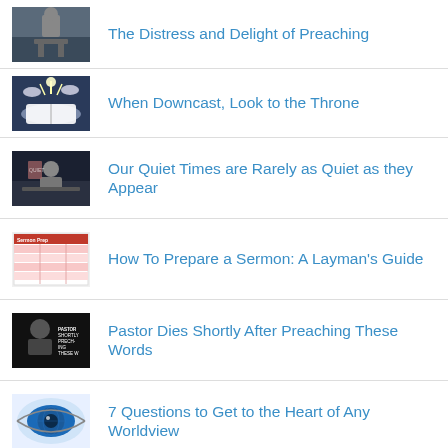The Distress and Delight of Preaching
When Downcast, Look to the Throne
Our Quiet Times are Rarely as Quiet as they Appear
How To Prepare a Sermon: A Layman's Guide
Pastor Dies Shortly After Preaching These Words
7 Questions to Get to the Heart of Any Worldview
Pilgrim's Progress Discussion Questions by